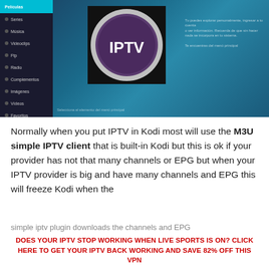[Figure (screenshot): Screenshot of a Kodi media player interface showing a sidebar menu on the left with items including Series, Música, Videoclips, Ftp, Radio, Complementos, Imágenes, Vídeos, Favoritos — with the first item highlighted in teal. In the center is the IPTV logo: a silver-ringed circle on dark background with 'IPTV' text in white on purple. The right side shows blurred teal interface text.]
Normally when you put IPTV in Kodi most will use the M3U simple IPTV client that is built-in Kodi but this is ok if your provider has not that many channels or EPG but when your IPTV provider is big and have many channels and EPG this will freeze Kodi when the
simple iptv plugin downloads the channels and EPG
DOES YOUR IPTV STOP WORKING WHEN LIVE SPORTS IS ON? CLICK HERE TO GET YOUR IPTV BACK WORKING AND SAVE 82% OFF THIS VPN